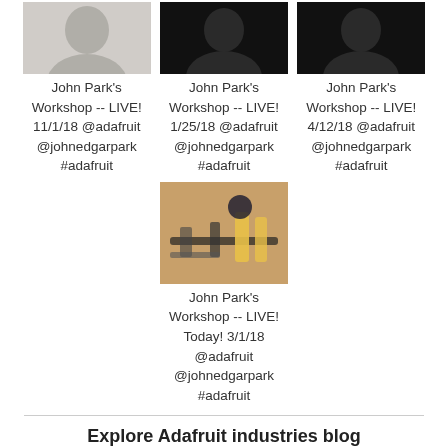[Figure (photo): Thumbnail of person in white]
[Figure (photo): Black thumbnail with logo]
[Figure (photo): Black thumbnail with logo]
John Park's Workshop -- LIVE! 11/1/18 @adafruit @johnedgarpark #adafruit
John Park's Workshop -- LIVE! 1/25/18 @adafruit @johnedgarpark #adafruit
John Park's Workshop -- LIVE! 4/12/18 @adafruit @johnedgarpark #adafruit
[Figure (photo): Tools on workbench]
John Park's Workshop -- LIVE! Today! 3/1/18 @adafruit @johnedgarpark #adafruit
Explore Adafruit industries blog